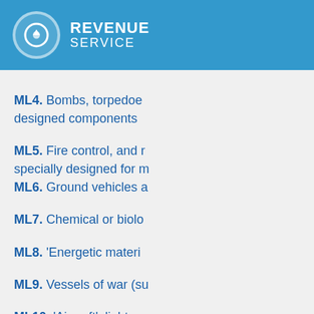REVENUE SERVICE
ML4. Bombs, torpedoes, designed components
ML5. Fire control, and related equipment, specially designed for m
ML6. Ground vehicles a
ML7. Chemical or biolo
ML8. 'Energetic materi
ML9. Vessels of war (su
ML10. 'Aircraft', light